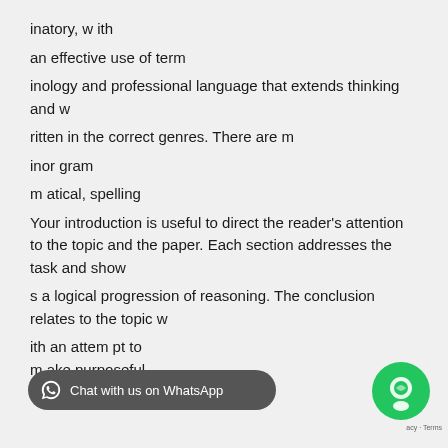inatory, w ith

an effective use of term

inology and professional language that extends thinking and w

ritten in the correct genres. There are m

inor gram

m atical, spelling

Your introduction is useful to direct the reader's attention to the topic and the paper. Each section addresses the task and show

s a logical progression of reasoning. The conclusion relates to the topic w

ith an attem pt to
m ake purposeful